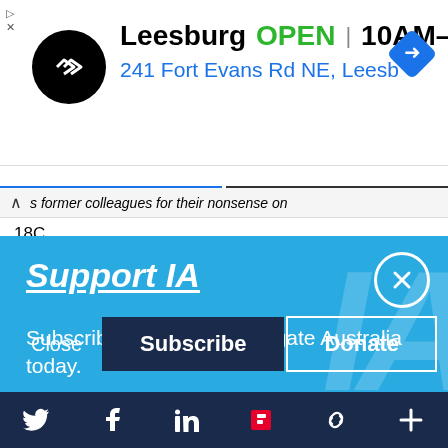[Figure (screenshot): Ad banner showing Google Maps result for Leesburg location: logo circle with arrows icon, text 'Leesburg OPEN 10AM-9PM', address '241 Fort Evans Rd NE, Leesb', navigation diamond icon, and arrow/X icons top left]
s former colleagues for their nonsense on 18C
theguardian.com/australia-news...
"How many of these men from my party had their seats in jeopardy during the
Support IA
Subscribe to IA and investigate Australia today.
Close  Subscribe  Donate
[Figure (screenshot): Social media footer bar with Twitter, Facebook, LinkedIn, Flipboard, chain/link, and plus icons in white on dark navy background]